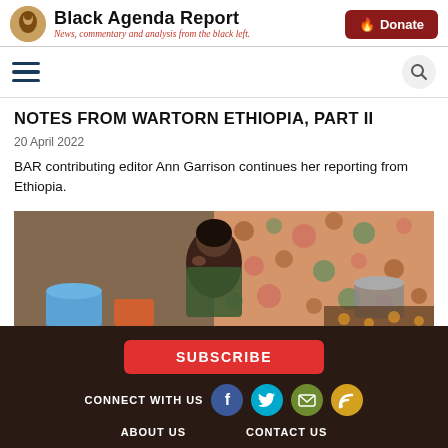Black Agenda Report — News, commentary and analysis from the black left.
Notes from Wartorn Ethiopia, Part II
20 April 2022
BAR contributing editor Ann Garrison continues her reporting from Ethiopia.
[Figure (photo): A woman sitting in a room with patterned walls, hand raised to her face, surrounded by household items and containers.]
SUBSCRIBE | CONNECT WITH US | ABOUT US | CONTACT US